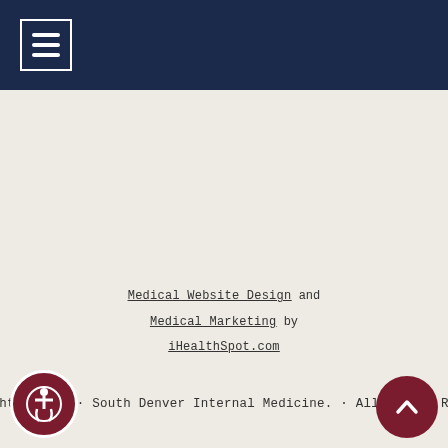Navigation menu header with hamburger icon
Medical Website Design and Medical Marketing by iHealthSpot.com
Copyright © 2022 · South Denver Internal Medicine. · All Rights Reserved